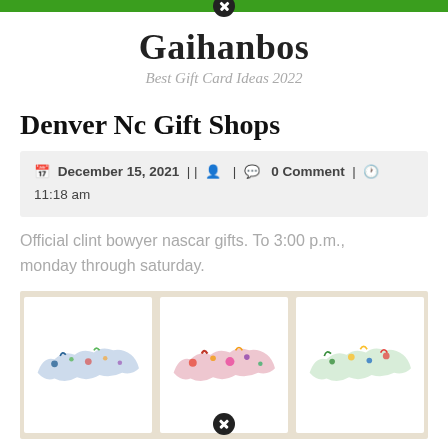Gaihanbos — Best Gift Card Ideas 2022
Denver Nc Gift Shops
December 15, 2021 | | 🧑 | 💬 0 Comment | 🕒 11:18 am
Official clint bowyer nascar gifts. To 3:00 p.m., monday through saturday.
[Figure (photo): Three white greeting cards each featuring a decorative North Carolina state silhouette filled with colorful folk art patterns, arranged side by side on a wooden surface.]